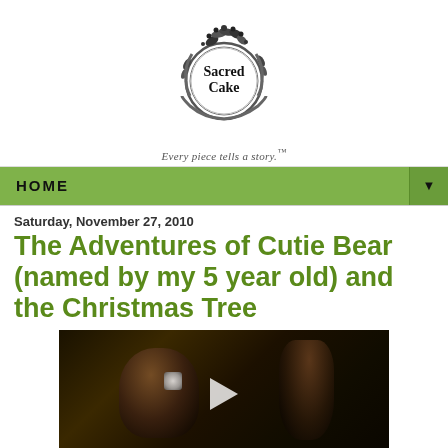[Figure (logo): Sacred Cake logo: circular ornate wreath design with text 'Sacred Cake' in the center, decorative floral/leaf elements around ring]
Every piece tells a story.™
HOME
Saturday, November 27, 2010
The Adventures of Cutie Bear (named by my 5 year old) and the Christmas Tree
[Figure (screenshot): Video player thumbnail showing dark scene with blurry figures, play button in center]